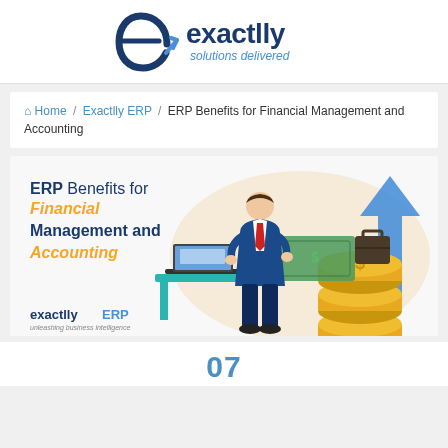[Figure (logo): Exactlly Solutions Delivered logo with blue swirl 'e' icon and company name]
Home / Exactlly ERP / ERP Benefits for Financial Management and Accounting
[Figure (illustration): ERP Benefits for Financial Management and Accounting hero image with businessman, coins, laptop, and upward arrow. Title text reads: ERP Benefits for Financial Management and Accounting. exactllyERP logo at bottom left.]
07